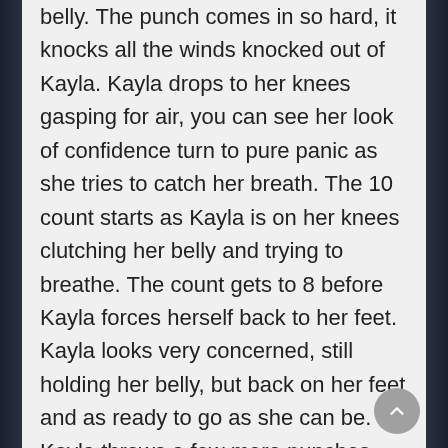belly. The punch comes in so hard, it knocks all the winds knocked out of Kayla. Kayla drops to her knees gasping for air, you can see her look of confidence turn to pure panic as she tries to catch her breath. The 10 count starts as Kayla is on her knees clutching her belly and trying to breathe. The count gets to 8 before Kayla forces herself back to her feet. Kayla looks very concerned, still holding her belly, but back on her feet and as ready to go as she can be. Kayla throws a few more punches before getting hit in the belly again. Kayla crumbles from the impact, dropping into the fetal position and coughing hard as all the air gets knocked out of her again. The count begins again, Kayla stays down coughing, but somehow just beats the count making it back to her feet before